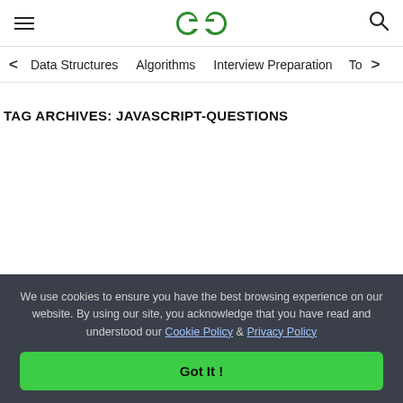GeeksforGeeks — hamburger menu, logo, search icon
< Data Structures   Algorithms   Interview Preparation   To>
TAG ARCHIVES: JAVASCRIPT-QUESTIONS
We use cookies to ensure you have the best browsing experience on our website. By using our site, you acknowledge that you have read and understood our Cookie Policy & Privacy Policy
Got It !